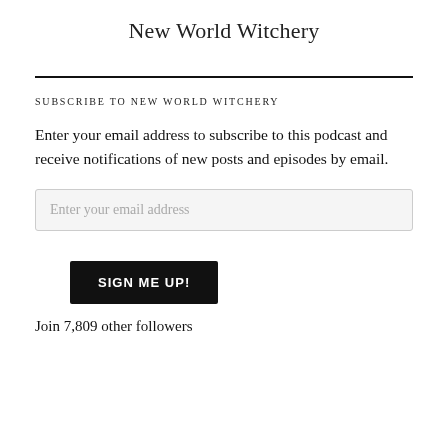New World Witchery
SUBSCRIBE TO NEW WORLD WITCHERY
Enter your email address to subscribe to this podcast and receive notifications of new posts and episodes by email.
Enter your email address
SIGN ME UP!
Join 7,809 other followers